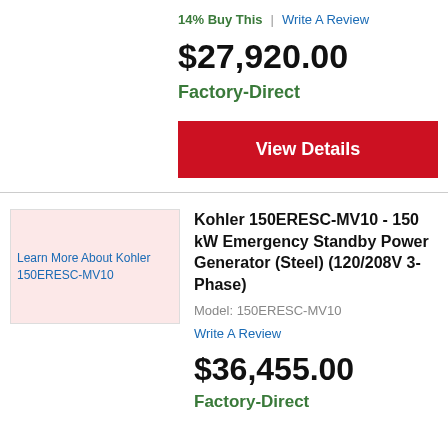14% Buy This | Write A Review
$27,920.00
Factory-Direct
View Details
[Figure (photo): Product image placeholder for Kohler 150ERESC-MV10]
Kohler 150ERESC-MV10 - 150 kW Emergency Standby Power Generator (Steel) (120/208V 3-Phase)
Model: 150ERESC-MV10
Write A Review
$36,455.00
Factory-Direct